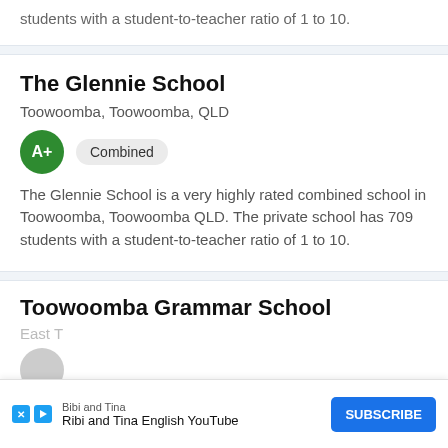students with a student-to-teacher ratio of 1 to 10.
The Glennie School
Toowoomba, Toowoomba, QLD
A+  Combined
The Glennie School is a very highly rated combined school in Toowoomba, Toowoomba QLD. The private school has 709 students with a student-to-teacher ratio of 1 to 10.
Toowoomba Grammar School
East T...
Bibi and Tina
Ribi and Tina English YouTube
SUBSCRIBE